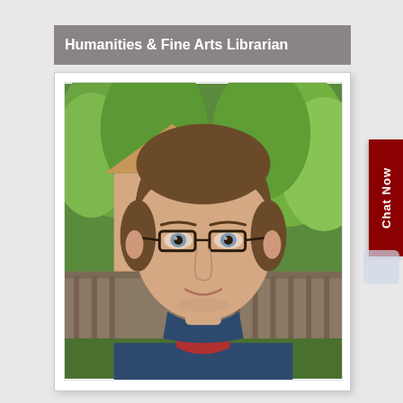Humanities & Fine Arts Librarian
[Figure (photo): Headshot photo of a young man with brown hair and glasses wearing a dark blue button-up shirt over a red shirt, standing outdoors with green trees and a house in the background.]
Chat Now